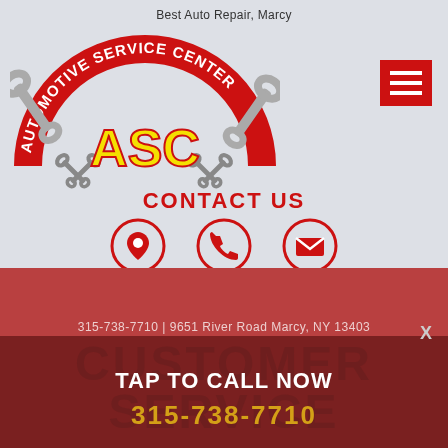Best Auto Repair, Marcy
[Figure (logo): Automotive Service Center ASC logo with wrench graphics and red/yellow text on circular badge]
[Figure (other): Red hamburger menu button with three white horizontal lines]
CONTACT US
[Figure (other): Three red circle icons: location pin, phone, and envelope/email]
315-738-7710 | 9651 River Road Marcy, NY 13403
CUSTOMER SERVICE
TAP TO CALL NOW
315-738-7710